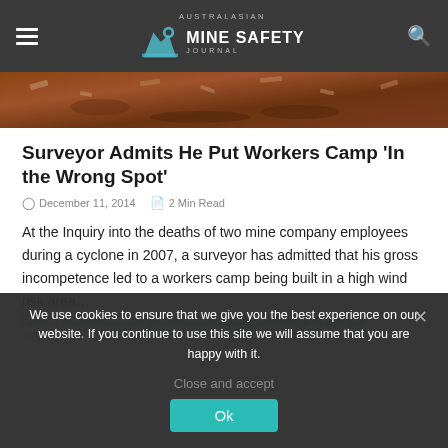AUSTRALASIAN MINE SAFETY JOURNAL
[Figure (photo): Rubble and debris scattered on ground, background scene of mine workers camp destruction]
Surveyor Admits He Put Workers Camp 'In the Wrong Spot'
December 11, 2014   2 Min Read
At the Inquiry into the deaths of two mine company employees during a cyclone in 2007, a surveyor has admitted that his gross incompetence led to a workers camp being built in a high wind risk area…
Privacy & Cookies: This site uses cookies. By continuing to use this website, you agree to their use.
We use cookies to ensure that we give you the best experience on our website. If you continue to use this site we will assume that you are happy with it.
Close and accept
Ok